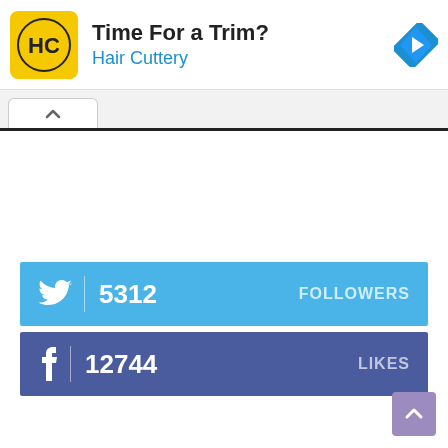[Figure (screenshot): Hair Cuttery advertisement banner with yellow HC logo, text 'Time For a Trim?' and 'Hair Cuttery' in blue, and a blue navigation arrow icon on the right]
[Figure (screenshot): Browser tab bar with a single tab showing an up-arrow (chevron) icon]
[Figure (infographic): Twitter social counter bar in light blue showing Twitter bird icon, count 5312, and 'FOLLOWERS' label on the right]
[Figure (infographic): Facebook social counter bar in dark blue showing Facebook 'f' icon, count 12744, and 'LIKES' label on the right]
[Figure (screenshot): Back-to-top button in purple/mauve color with upward arrow icon, positioned bottom-right]